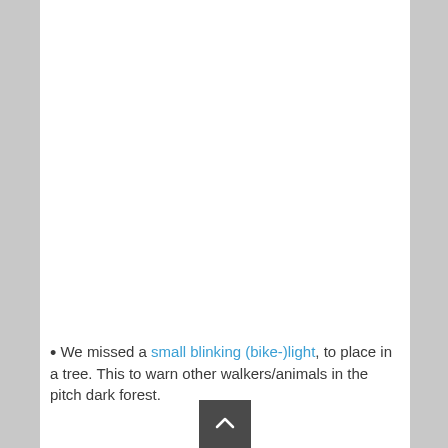We missed a small blinking (bike-)light, to place in a tree. This to warn other walkers/animals in the pitch dark forest.